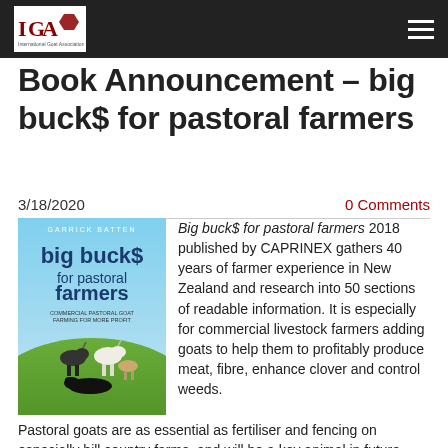IGA logo and navigation bar
Book Announcement – big buck$ for pastoral farmers
3/18/2020
0 Comments
[Figure (photo): Book cover of 'big buck$ for pastoral farmers' by Garrick Batten, published by CAPRINEX, showing goats on a hillside with a dog lying in the foreground, blue sky background.]
Big buck$ for pastoral farmers 2018 published by CAPRINEX gathers 40 years of farmer experience in New Zealand and research into 50 sections of readable information. It is especially for commercial livestock farmers adding goats to help them to profitably produce meat, fibre, enhance clover and control weeds.
Pastoral goats are as essential as fertiliser and fencing on especially hill country farms, and will be a key animal in future sustainable farming. Recommendations for